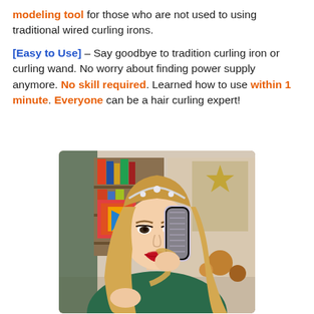modeling tool for those who are not used to using traditional wired curling irons.
[Easy to Use] – Say goodbye to tradition curling iron or curling wand. No worry about finding power supply anymore. No skill required. Learned how to use within 1 minute. Everyone can be a hair curling expert!
[Figure (photo): A smiling blonde woman wearing a tiara and green top, using a cylindrical hair curling device on her long blonde hair. Background shows shelves with books and holiday decorations.]